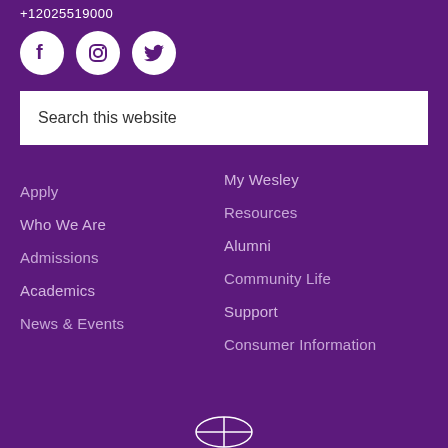+12025519000
[Figure (illustration): Three social media icons (Facebook, Instagram, Twitter) as white circles on purple background]
Search this website
Apply
Who We Are
Admissions
Academics
News & Events
My Wesley
Resources
Alumni
Community Life
Support
Consumer Information
[Figure (logo): Wesley college logo at bottom center, white on purple]